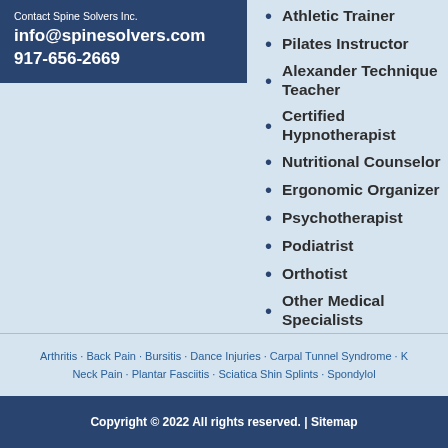Contact Spine Solvers Inc.
info@spinesolvers.com
917-656-2669
Athletic Trainer
Pilates Instructor
Alexander Technique Teacher
Certified Hypnotherapist
Nutritional Counselor
Ergonomic Organizer
Psychotherapist
Podiatrist
Orthotist
Other Medical Specialists
Arthritis · Back Pain · Bursitis · Dance Injuries · Carpal Tunnel Syndrome · K... Neck Pain · Plantar Fasciitis · Sciatica Shin Splints · Spondylol...
Copyright © 2022 All rights reserved. | Sitemap